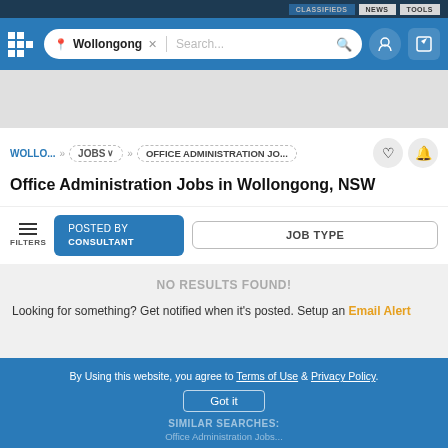[Figure (screenshot): Top navigation bar with CLASSIFIEDS/NEWS/TOOLS tabs]
[Figure (screenshot): Main header with logo, Wollongong location search bar, user and edit icons]
[Figure (screenshot): Gray advertisement space]
WOLLO... » JOBS ∨ » OFFICE ADMINISTRATION JO...
Office Administration Jobs in Wollongong, NSW
[Figure (screenshot): Filter bar with FILTERS, POSTED BY / CONSULTANT button, JOB TYPE button]
NO RESULTS FOUND!
Looking for something? Get notified when it's posted. Setup an Email Alert
By Using this website, you agree to Terms of Use & Privacy Policy.
Got it
SIMILAR SEARCHES:
Office Administration Jobs...